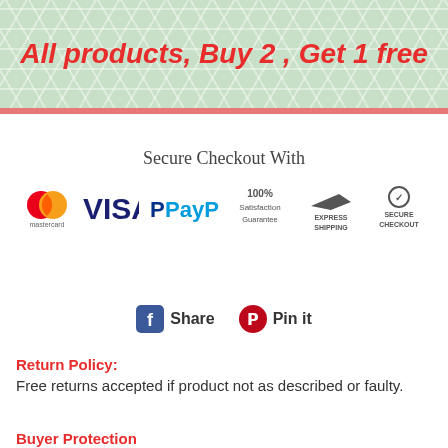All products, Buy 2 , Get 1 free
Secure Checkout With
[Figure (infographic): Payment method icons: Mastercard, VISA, PayPal, 100% Satisfaction Guarantee, Express Shipping, Secure Checkout]
[Figure (infographic): Social share buttons: Facebook Share and Pinterest Pin it]
Return Policy:
Free returns accepted if product not as described or faulty.
Buyer Protection